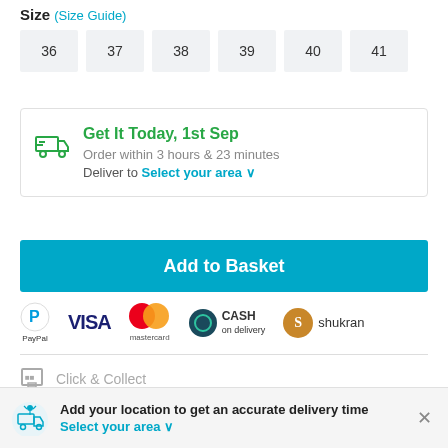Size  (Size Guide)
36
37
38
39
40
41
Get It Today, 1st Sep
Order within 3 hours & 23 minutes
Deliver to Select your area
Add to Basket
[Figure (logo): PayPal, Visa, Mastercard, Cash on delivery, Shukran payment icons]
Click & Collect
Add your location to get an accurate delivery time
Select your area